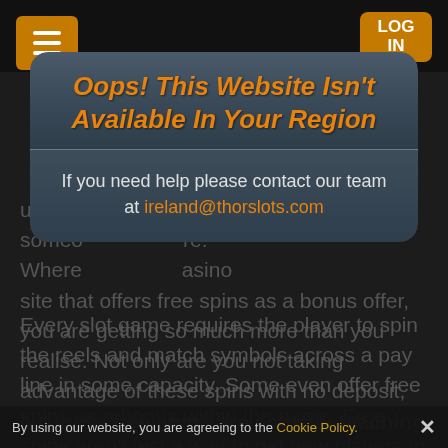[Figure (screenshot): Dark themed casino website with hamburger menu and LOG IN button in top bar]
Oops! This Website Isn't Available In Your Region
If you need help please contact our team at ireland@thorslots.com
used in... are someone... re. Where... casino site that offers free spins as a bonus offer, you are getting so much more than you realise. Not only are you not taking advantage of these spins with no deposit, but these free spins are actually teaching you how a slot game works.
Every slot game requires the player to spin the reels and match symbols across a pay line in some capacity. Some even offer free spins as a bonus within the game. Free spins aren't just a way to get new players to sign up to a casino site, but actually function as a tutorial for slot games in general. Awarding players with free spins...
By using our website, you are agreeing to the Cookie Policy.